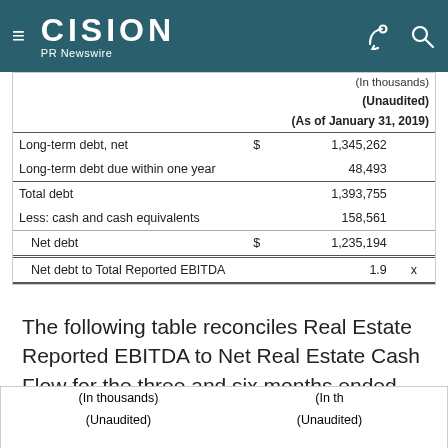CISION PR Newswire
|  |  | (As of January 31, 2019) |
| --- | --- | --- |
| Long-term debt, net | $ | 1,345,262 |  |
| Long-term debt due within one year |  | 48,493 |  |
| Total debt |  | 1,393,755 |  |
| Less: cash and cash equivalents |  | 158,561 |  |
| Net debt | $ | 1,235,194 |  |
| Net debt to Total Reported EBITDA |  | 1.9 | x |
The following table reconciles Real Estate Reported EBITDA to Net Real Estate Cash Flow for the three and six months ended January 31, 2019 and 2018.
| (In thousands) (Unaudited) | (In th... (Unaudited) |
| --- | --- |